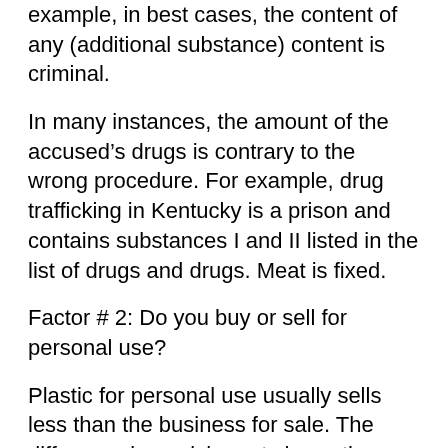example, in best cases, the content of any (additional substance) content is criminal.
In many instances, the amount of the accused’s drugs is contrary to the wrong procedure. For example, drug trafficking in Kentucky is a prison and contains substances I and II listed in the list of drugs and drugs. Meat is fixed.
Factor # 2: Do you buy or sell for personal use?
Plastic for personal use usually sells less than the business for sale. The difference in punishment shows the perception of lawyers in each crime. Those who use these tablets become victims of those who promote them.